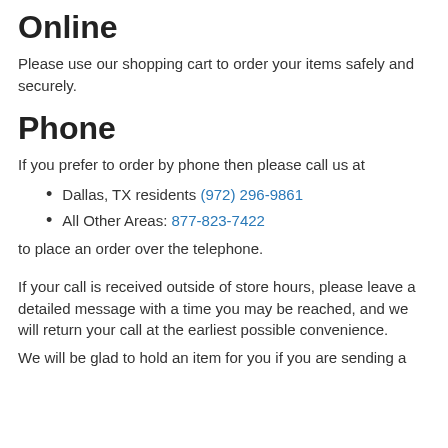Online
Please use our shopping cart to order your items safely and securely.
Phone
If you prefer to order by phone then please call us at
Dallas, TX residents (972) 296-9861
All Other Areas: 877-823-7422
to place an order over the telephone.
If your call is received outside of store hours, please leave a detailed message with a time you may be reached, and we will return your call at the earliest possible convenience.
We will be glad to hold an item for you if you are sending a